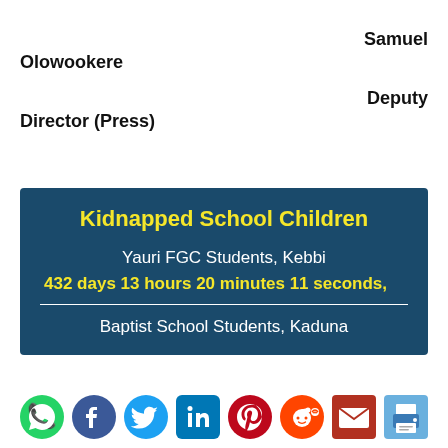Samuel Olowookere
Deputy Director (Press)
Kidnapped School Children
Yauri FGC Students, Kebbi
432 days 13 hours 20 minutes 11 seconds,
Baptist School Students, Kaduna
[Figure (infographic): Social media share icons: WhatsApp, Facebook, Twitter, LinkedIn, Pinterest, Reddit, Email, Print]